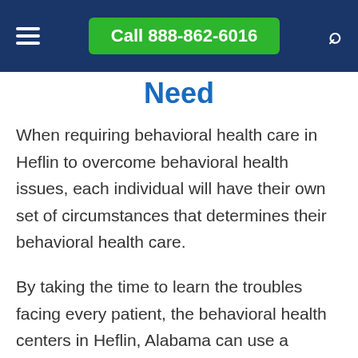Call 888-862-6016
Need
When requiring behavioral health care in Heflin to overcome behavioral health issues, each individual will have their own set of circumstances that determines their behavioral health care.
By taking the time to learn the troubles facing every patient, the behavioral health centers in Heflin, Alabama can use a variety of behavioral health care options to properly treat the patient: